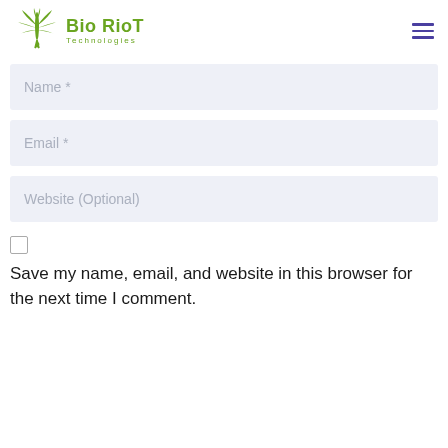[Figure (logo): Bio RioT Technologies logo with green cannabis leaf icon and green text]
Name *
Email *
Website (Optional)
Save my name, email, and website in this browser for the next time I comment.